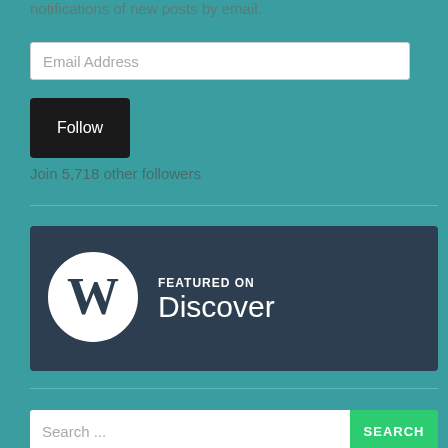notifications of new posts by email.
Email Address
Follow
Join 5,718 other followers
[Figure (logo): WordPress 'Featured on Discover' banner with WordPress logo (W in circle) on dark navy background with white text 'FEATURED ON Discover']
Search ...
SEARCH